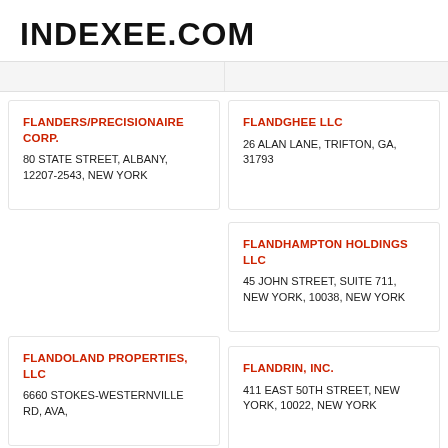INDEXEE.COM
FLANDERS/PRECISIONAIRE CORP.
80 STATE STREET, ALBANY, 12207-2543, NEW YORK
FLANDGHEE LLC
26 ALAN LANE, TRIFTON, GA, 31793
FLANDHAMPTON HOLDINGS LLC
45 JOHN STREET, SUITE 711, NEW YORK, 10038, NEW YORK
FLANDOLAND PROPERTIES, LLC
6660 STOKES-WESTERNVILLE RD, AVA,
FLANDRIN, INC.
411 EAST 50TH STREET, NEW YORK, 10022, NEW YORK